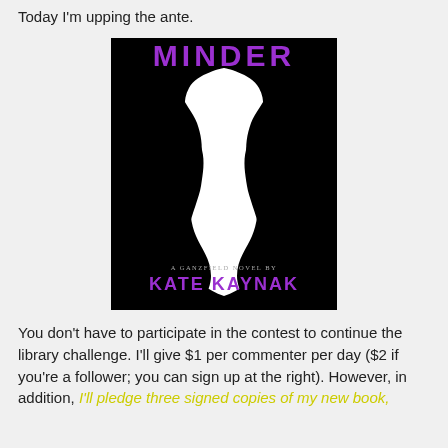Today I'm upping the ante.
[Figure (illustration): Book cover for 'Minder' by Kate Kaynak. Black background with white silhouette of two facing profiles forming a vase/doorway shape. Title 'MINDER' in purple text at top. Subtitle 'A Ganzfield Novel by' in small text. Author name 'KATE KAYNAK' in purple text at bottom.]
You don't have to participate in the contest to continue the library challenge. I'll give $1 per commenter per day ($2 if you're a follower; you can sign up at the right). However, in addition, I'll pledge three signed copies of my new book,